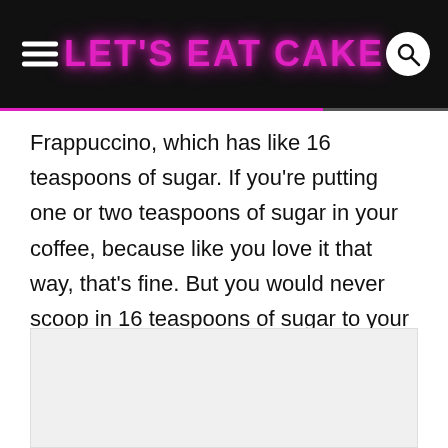LET'S EAT CAKE
Frappuccino, which has like 16 teaspoons of sugar. If you're putting one or two teaspoons of sugar in your coffee, because like you love it that way, that's fine. But you would never scoop in 16 teaspoons of sugar to your coffee unless you're literally making ice cream. Which is fine, eat ice cream.
[Figure (photo): Image placeholder at the bottom of the page]